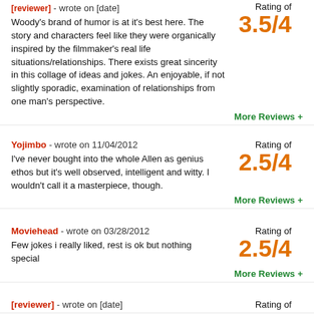[reviewer truncated] - wrote on [date truncated] | Rating of 3.5/4
Woody's brand of humor is at it's best here. The story and characters feel like they were organically inspired by the filmmaker's real life situations/relationships. There exists great sincerity in this collage of ideas and jokes. An enjoyable, if not slightly sporadic, examination of relationships from one man's perspective.
More Reviews +
Yojimbo - wrote on 11/04/2012 | Rating of 2.5/4
I've never bought into the whole Allen as genius ethos but it's well observed, intelligent and witty. I wouldn't call it a masterpiece, though.
More Reviews +
Moviehead - wrote on 03/28/2012 | Rating of 2.5/4
Few jokes i really liked, rest is ok but nothing special
More Reviews +
[reviewer truncated] - wrote on [date truncated] | Rating of [truncated]